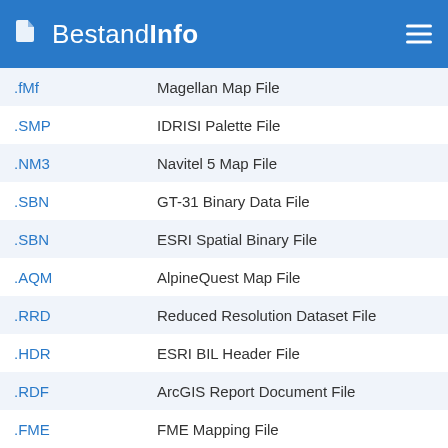BestandInfo
| Extension | Description |
| --- | --- |
| .fMf | Magellan Map File |
| .SMP | IDRISI Palette File |
| .NM3 | Navitel 5 Map File |
| .SBN | GT-31 Binary Data File |
| .SBN | ESRI Spatial Binary File |
| .AQM | AlpineQuest Map File |
| .RRD | Reduced Resolution Dataset File |
| .HDR | ESRI BIL Header File |
| .RDF | ArcGIS Report Document File |
| .FME | FME Mapping File |
| .IMD | GIS Image Metadata File |
| .FMV | FME Desktop Viewspace File |